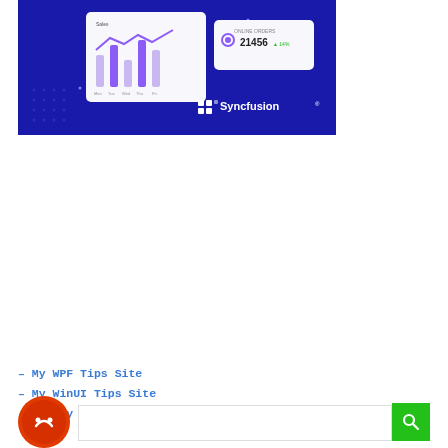[Figure (screenshot): Syncfusion promotional banner with dark blue background showing UI components (bar chart, dashboard cards) and the Syncfusion logo in white text]
– My WPF Tips Site
– My WinUI Tips Site
– Get my two books from Packt Publishing
[Figure (logo): Red circular avatar/logo at bottom left]